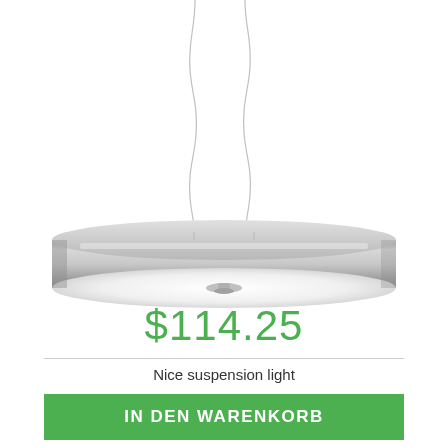[Figure (photo): A modern round silver/chrome pendant suspension light hanging from two thin cables against a white background. The lamp has a cylindrical brushed metal shade and a white diffuser on the bottom.]
$114.25
Nice suspension light
IN DEN WARENKORB
Auf meine Wunschliste | Zum Vergleich hinzufügen